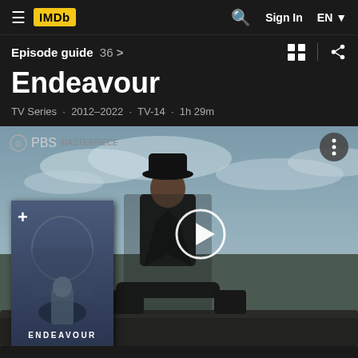IMDb navigation bar with hamburger menu, IMDb logo, search, Sign In, EN
Episode guide  36 >
Endeavour
TV Series · 2012–2022 · TV-14 · 1h 29m
[Figure (screenshot): Video thumbnail showing a man in dark coat and fedora hat leaning on a railing, PBS Masterpiece logo top-left, more options button top-right, play button center, Endeavour poster overlay bottom-left with '+' icon and 'ENDEAVOUR' text]